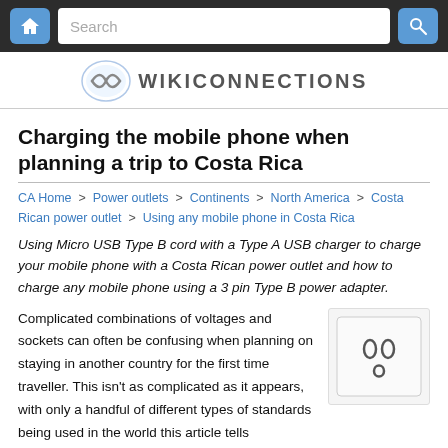WIKICONNECTIONS — Search bar and home button navigation
Charging the mobile phone when planning a trip to Costa Rica
CA Home > Power outlets > Continents > North America > Costa Rican power outlet > Using any mobile phone in Costa Rica
Using Micro USB Type B cord with a Type A USB charger to charge your mobile phone with a Costa Rican power outlet and how to charge any mobile phone using a 3 pin Type B power adapter.
Complicated combinations of voltages and sockets can often be confusing when planning on staying in another country for the first time traveller. This isn't as complicated as it appears, with only a handful of different types of standards being used in the world this article tells
[Figure (illustration): Illustration of a Type B power outlet/socket with two round pins and one grounding pin on a white rectangular panel]